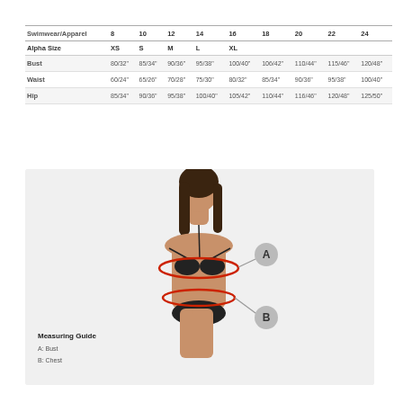| Swimwear/Apparel | 8 | 10 | 12 | 14 | 16 | 18 | 20 | 22 | 24 |
| --- | --- | --- | --- | --- | --- | --- | --- | --- | --- |
| Alpha Size | XS | S | M | L | XL |  |  |  |  |
| Bust | 80/32" | 85/34" | 90/36" | 95/38" | 100/40" | 106/42" | 110/44" | 115/46" | 120/48" |
| Waist | 60/24" | 65/26" | 70/28" | 75/30" | 80/32" | 85/34" | 90/36" | 95/38" | 100/40" |
| Hip | 85/34" | 90/36" | 95/38" | 100/40" | 105/42" | 110/44" | 116/46" | 120/48" | 125/50" |
[Figure (illustration): Woman wearing black bikini with measurement guide callouts: A (Bust) and B (Chest) shown with red oval measurement lines around torso]
Measuring Guide
A: Bust
B: Chest